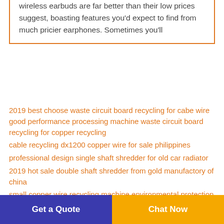wireless earbuds are far better than their low prices suggest, boasting features you'd expect to find from much pricier earphones. Sometimes you'll
2019 best choose waste circuit board recycling for cabe wire good performance processing machine waste circuit board recycling for copper recycling
cable recycling dx1200 copper wire for sale philippines
professional design single shaft shredder for old car radiator
2019 hot sale double shaft shredder from gold manufactory of china
small copper wire recycling machine environmental protection machine from china factory for power station
how to get four axis shredder for copper and plastic
Get a Quote
Chat Now